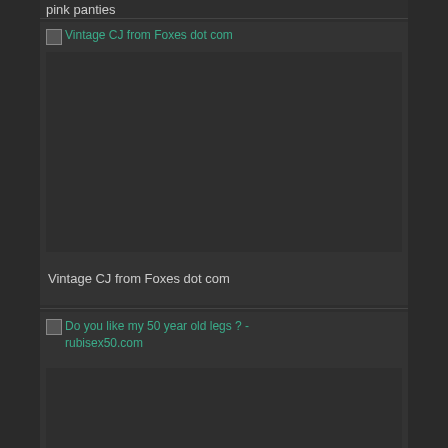pink panties
[Figure (photo): Broken image placeholder for 'Vintage CJ from Foxes dot com']
Vintage CJ from Foxes dot com
[Figure (photo): Broken image placeholder for 'Do you like my 50 year old legs ? - rubisex50.com']